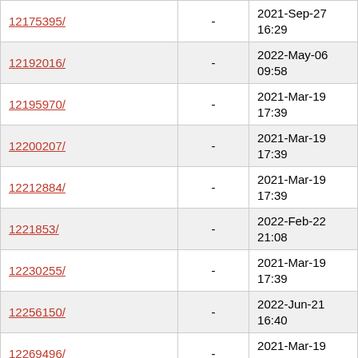| Name |  | Last Modified |
| --- | --- | --- |
| 12175395/ | - | 2021-Sep-27 16:29 |
| 12192016/ | - | 2022-May-06 09:58 |
| 12195970/ | - | 2021-Mar-19 17:39 |
| 12200207/ | - | 2021-Mar-19 17:39 |
| 12212884/ | - | 2021-Mar-19 17:39 |
| 1221853/ | - | 2022-Feb-22 21:08 |
| 12230255/ | - | 2021-Mar-19 17:39 |
| 12256150/ | - | 2022-Jun-21 16:40 |
| 12269496/ | - | 2021-Mar-19 17:39 |
| 12297411/ | - | 2021-Mar-19 17:39 |
| 12300809/ | - | 2021-Mar-19 17:38 |